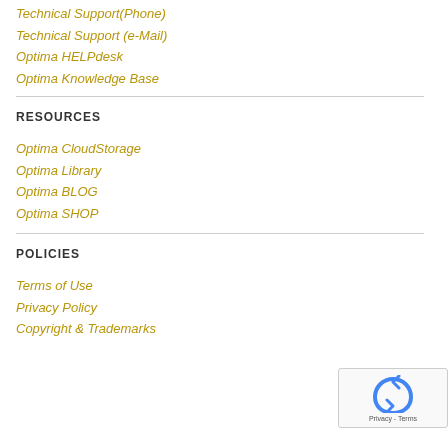Technical Support(Phone)
Technical Support (e-Mail)
Optima HELPdesk
Optima Knowledge Base
RESOURCES
Optima CloudStorage
Optima Library
Optima BLOG
Optima SHOP
POLICIES
Terms of Use
Privacy Policy
Copyright & Trademarks